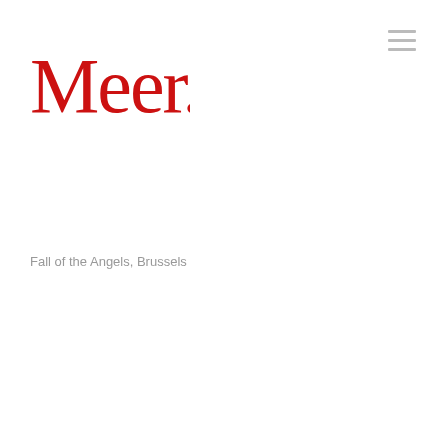[Figure (logo): Meer. logo in red stylized gothic/medieval font]
[Figure (other): Hamburger menu icon with three horizontal grey lines]
Fall of the Angels, Brussels